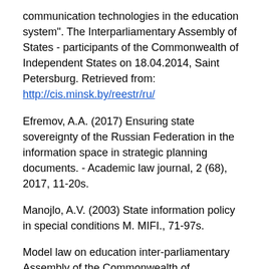communication technologies in the education system". The Interparliamentary Assembly of States - participants of the Commonwealth of Independent States on 18.04.2014, Saint Petersburg. Retrieved from: http://cis.minsk.by/reestr/ru/
Efremov, A.A. (2017) Ensuring state sovereignty of the Russian Federation in the information space in strategic planning documents. - Academic law journal, 2 (68), 2017, 11-20s.
Manojlo, A.V. (2003) State information policy in special conditions M. MIFI., 71-97s.
Model law on education inter-parliamentary Assembly of the Commonwealth of Independent States of 03.04.1999, St. Petersburg. Retrieved from: http://iacis.ru/
Resolution on the new edition of the model Educational code the code (General part) for the CIS member States. Inter-parliamentary Assembly of the Commonwealth of